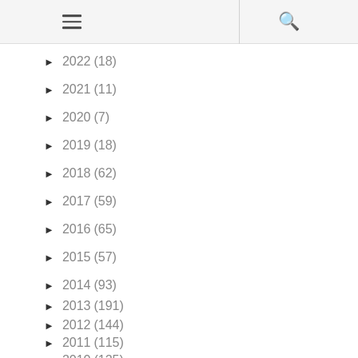≡  🔍
► 2022 (18)
► 2021 (11)
► 2020 (7)
► 2019 (18)
► 2018 (62)
► 2017 (59)
► 2016 (65)
► 2015 (57)
► 2014 (93)
► 2013 (191)
► 2012 (144)
► 2011 (115)
▼ 2010 (125)